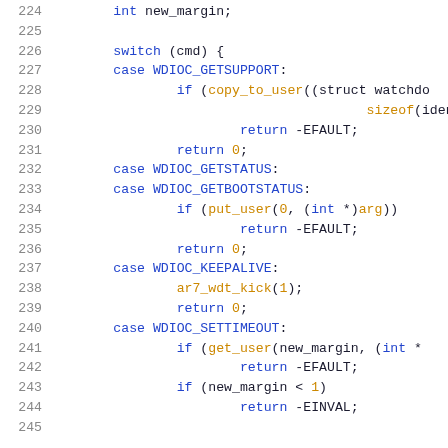[Figure (screenshot): Source code listing in C, lines 224-245, showing a watchdog timer ioctl function with switch-case statements for WDIOC_GETSUPPORT, WDIOC_GETSTATUS, WDIOC_GETBOOTSTATUS, WDIOC_KEEPALIVE, and WDIOC_SETTIMEOUT cases.]